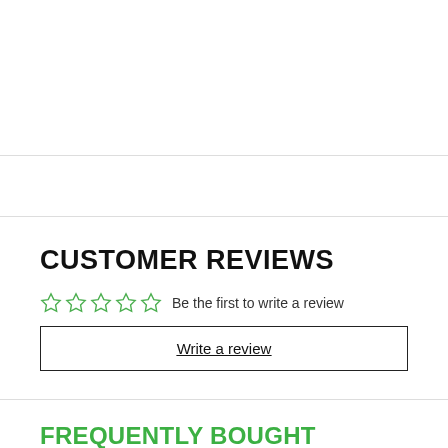CUSTOMER REVIEWS
Be the first to write a review
Write a review
FREQUENTLY BOUGHT TOGETHER
[Figure (photo): Product photo of a round device (appears to be a timer or gauge) with a red button, shown from above at an angle, with white/gray casing.]